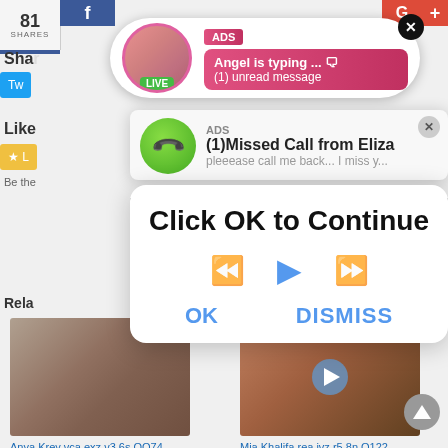[Figure (screenshot): Screenshot of a webpage with social sharing buttons, video player, and related video thumbnails in the background]
[Figure (screenshot): ADS notification bubble showing 'Angel is typing... (1) unread message' with a live avatar and pink gradient background, with an X close button]
[Figure (screenshot): ADS popup showing '(1)Missed Call from Eliza' with green phone circle icon and 'pleeease call me back... I miss y...' text]
[Figure (screenshot): Modal dialog overlay with 'Click OK to Continue' text, media player controls, OK and DISMISS buttons in blue text on white rounded rectangle]
Anya Krey vca exz v3 6s OO74 Porno Videos Gratis Video December 13, 2020
Mia Khalifa rea ivz r5 8n O122 Porno Videos Gratis Video January 5, 2021